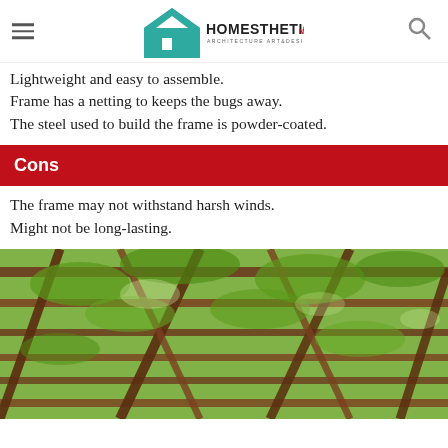Homesthetics — Architecture Art & Design
Lightweight and easy to assemble. Frame has a netting to keeps the bugs away. The steel used to build the frame is powder-coated.
Cons
The frame may not withstand harsh winds. Might not be long-lasting.
[Figure (photo): Overhead view of a wooden pergola structure covered with green leafy vines, viewed from below looking up toward the sky through the lattice.]